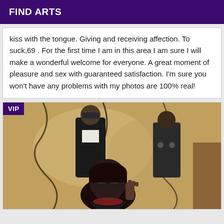FIND ARTS
kiss with the tongue. Giving and receiving affection. To suck,69 . For the first time I am in this area I am sure I will make a wonderful welcome for everyone. A great moment of pleasure and sex with guaranteed satisfaction. I'm sure you won't have any problems with my photos are 100% real!
[Figure (photo): A photo showing three figures in dark clothing with masks, against an abstract golden/beige background. A woman in the foreground wears sunglasses and raises her hand. Two mannequin-like figures stand behind her. A purple 'VIP' badge is in the top-left corner.]